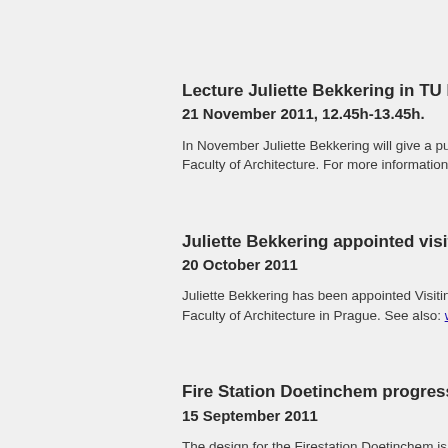Lecture Juliette Bekkering in TU Delft
21 November 2011, 12.45h-13.45h.
In November Juliette Bekkering will give a public lecture at the Faculty of Architecture. For more information: www...
Juliette Bekkering appointed visiting P...
20 October 2011
Juliette Bekkering has been appointed Visiting Prof... Faculty of Architecture in Prague. See also: ww...
Fire Station Doetinchem progressing s...
15 September 2011
The design for the Firestation Doetinchem is progre... The Definitive Design will be completed in Novemb...
Bloemershof published on Baunetz...